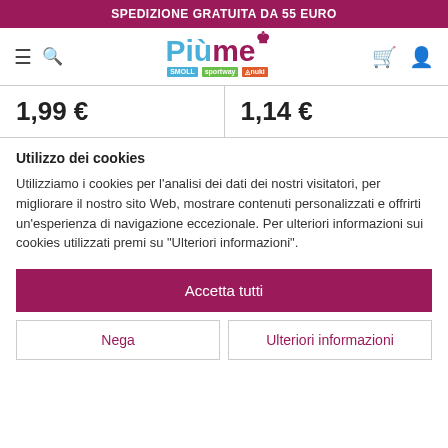SPEDIZIONE GRATUITA DA 55 EURO
[Figure (logo): Più me logo with crown, sub-brands: SMOLL, sportway, fnuki, plus hamburger menu, search, cart, and user icons]
| 1,99 € | 1,14 € |
Utilizzo dei cookies
Utilizziamo i cookies per l'analisi dei dati dei nostri visitatori, per migliorare il nostro sito Web, mostrare contenuti personalizzati e offrirti un'esperienza di navigazione eccezionale. Per ulteriori informazioni sui cookies utilizzati premi su "Ulteriori informazioni".
Accetta tutti
Nega
Ulteriori informazioni